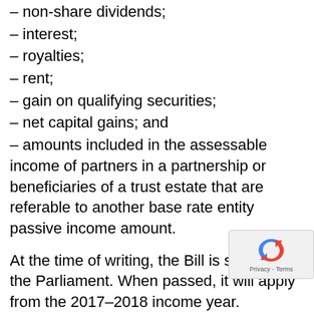– non-share dividends;
– interest;
– royalties;
– rent;
– gain on qualifying securities;
– net capital gains; and
– amounts included in the assessable income of partners in a partnership or beneficiaries of a trust estate that are referable to another base rate entity passive income amount.
At the time of writing, the Bill is still before the Parliament. When passed, it will apply from the 2017–2018 income year.
The lower company tax rate of 27.5% is ava in 2017–2018 for small businesses and corp base rate entities with turnover of less than